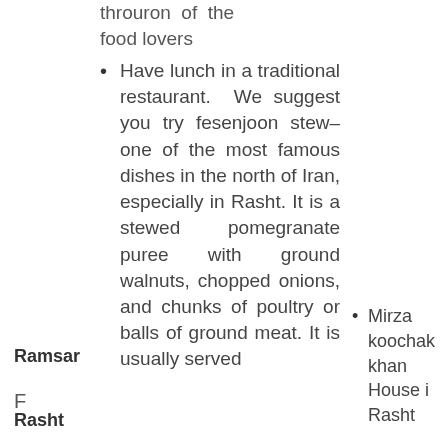throuron of the food lovers
Have lunch in a traditional restaurant. We suggest you try fesenjoon stew–one of the most famous dishes in the north of Iran, especially in Rasht. It is a stewed pomegranate puree with ground walnuts, chopped onions, and chunks of poultry or balls of ground meat. It is usually served
F
Ramsar
Rasht
Mirza koochak khan House i Rasht